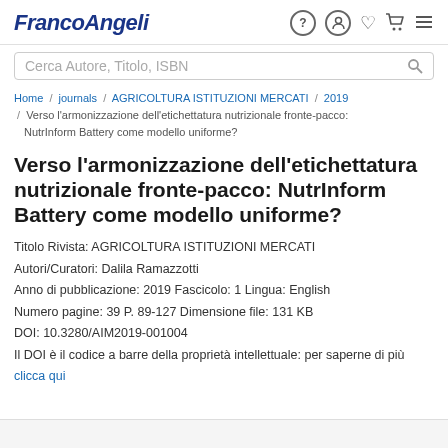FrancoAngeli
Cerca Autore, Titolo, ISBN
Home / journals / AGRICOLTURA ISTITUZIONI MERCATI / 2019 / Verso l'armonizzazione dell'etichettatura nutrizionale fronte-pacco: NutrInform Battery come modello uniforme?
Verso l'armonizzazione dell'etichettatura nutrizionale fronte-pacco: NutrInform Battery come modello uniforme?
Titolo Rivista: AGRICOLTURA ISTITUZIONI MERCATI
Autori/Curatori: Dalila Ramazzotti
Anno di pubblicazione: 2019 Fascicolo: 1 Lingua: English
Numero pagine: 39 P. 89-127 Dimensione file: 131 KB
DOI: 10.3280/AIM2019-001004
Il DOI è il codice a barre della proprietà intellettuale: per saperne di più
clicca qui